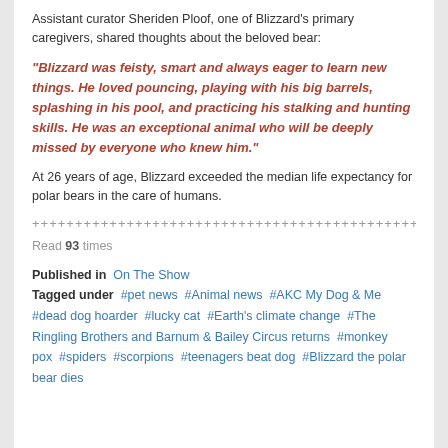Assistant curator Sheriden Ploof, one of Blizzard's primary caregivers, shared thoughts about the beloved bear:
“Blizzard was feisty, smart and always eager to learn new things. He loved pouncing, playing with his big barrels, splashing in his pool, and practicing his stalking and hunting skills. He was an exceptional animal who will be deeply missed by everyone who knew him.”
At 26 years of age, Blizzard exceeded the median life expectancy for polar bears in the care of humans.
++++++++++++++++++++++++++++++++++++++++++++++++++++
Read 93 times
Published in  On The Show
Tagged under  #pet news  #Animal news  #AKC My Dog & Me  #dead dog hoarder  #lucky cat  #Earth’s climate change  #The Ringling Brothers and Barnum & Bailey Circus returns  #monkey pox  #spiders  #scorpions  #teenagers beat dog  #Blizzard the polar bear dies